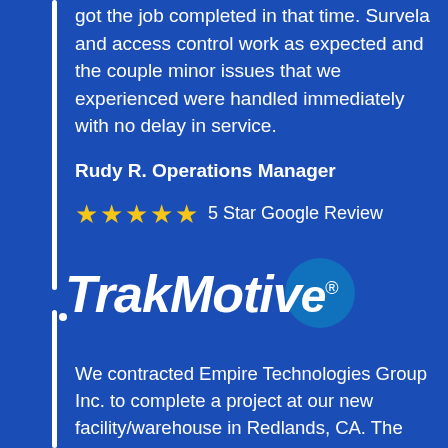got the job completed in that time. Survela and access control work as expected and the couple minor issues that we experienced were handled immediately with no delay in service.
Rudy R. Operations Manager
★★★★★  5 Star Google Review
[Figure (logo): TrakMotive logo in bold italic white text with registered trademark symbol]
We contracted Empire Technologies Group Inc. to complete a project at our new facility/warehouse in Redlands, CA. The project included Security Systems, Access Control, and Structured Cabling. From the start, they have been very responsive and I was very impressed with their professionalism. Their experience